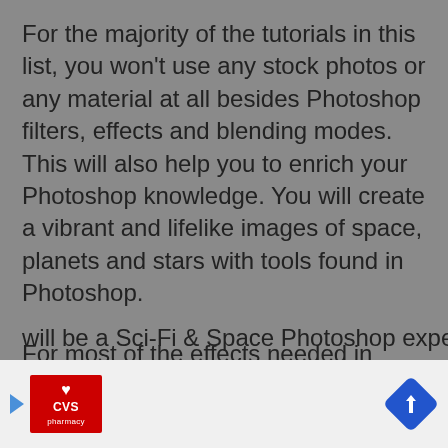For the majority of the tutorials in this list, you won't use any stock photos or any material at all besides Photoshop filters, effects and blending modes. This will also help you to enrich your Photoshop knowledge. You will create a vibrant and lifelike images of space, planets and stars with tools found in Photoshop.
For most of the effects needed in order to create these images, you will use the brush tool, layer effects and the filter gallery. You may want to set aside an hour or two before starting any of these space Photoshop tutorials, because they require quite a bit of work to accomplish. But don't worry – your hard work will pay off and in the end you will be a Sci-Fi & Space Photoshop expert.
[Figure (other): Advertisement banner showing CVS pharmacy logo on the left with a blue play arrow, and a blue navigation/directions diamond icon on the right, on a light gray background.]